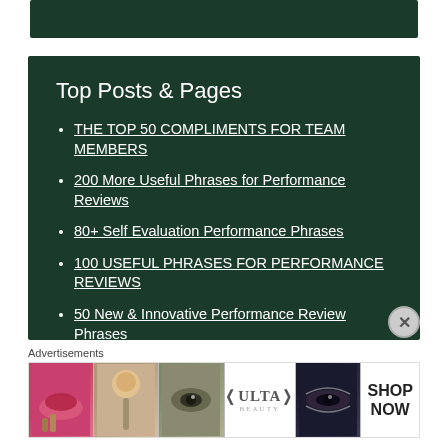[Figure (screenshot): Dark green top navigation bar]
Top Posts & Pages
THE TOP 50 COMPLIMENTS FOR TEAM MEMBERS
200 More Useful Phrases for Performance Reviews
80+ Self Evaluation Performance Phrases
100 USEFUL PHRASES FOR PERFORMANCE REVIEWS
50 New & Innovative Performance Review Phrases
10 CREATIVE EMPLOYEE RECOGNITION IDEAS
[Figure (screenshot): Ulta Beauty advertisement banner with makeup imagery and SHOP NOW button]
Advertisements